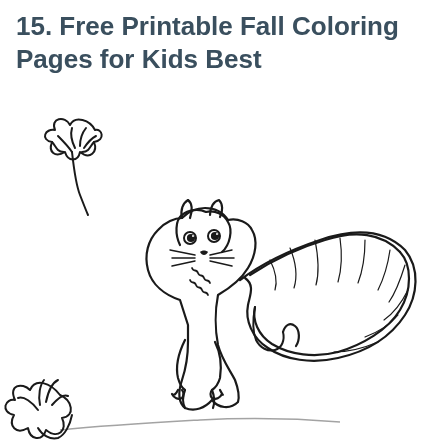15. Free Printable Fall Coloring Pages for Kids Best
[Figure (illustration): Black and white coloring page illustration of a squirrel with a large fluffy tail, sitting among falling autumn oak leaves. The squirrel is drawn in a cartoon/coloring book style with visible face details including eyes and whiskers. Two oak leaves are shown — one upper left floating in the air and one lower left on the ground. The squirrel's bushy tail curves up and over its back on the right side.]